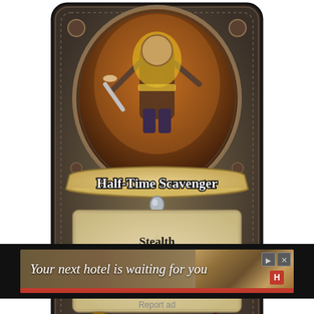[Figure (illustration): Hearthstone card: Half-Time Scavenger. A fantasy trading card with dark stone border, a warrior character illustration at top, a banner reading 'Half-Time Scavenger', a text box with 'Stealth / Overkill: Gain 3 Armor.', attack value 3 (sword/shield badge bottom left), health value 5 (red drop bottom right).]
Rating: 2.7/5. From 137 votes.
[Figure (infographic): Advertisement banner: 'Your next hotel is waiting for you' with landscape hotel image background, red accent bar, navigation controls.]
Report ad